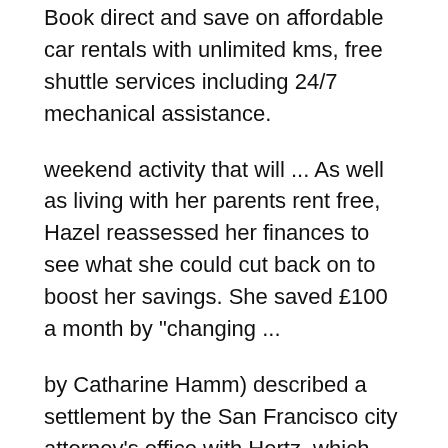Book direct and save on affordable car rentals with unlimited kms, free shuttle services including 24/7 mechanical assistance.
weekend activity that will ... As well as living with her parents rent free, Hazel reassessed her finances to see what she could cut back on to boost her savings. She saved £100 a month by "changing ...
by Catharine Hamm) described a settlement by the San Francisco city attorney's office with Hertz, which charged drivers extra fees for using a rental car's transponder ... been refunded. From weekend ...
One of the surprising things is the volume of low-cost options and deals around if/when you get in on the swing ... I must point out the interviews were arranged by Enterprise Car Rental Ireland so